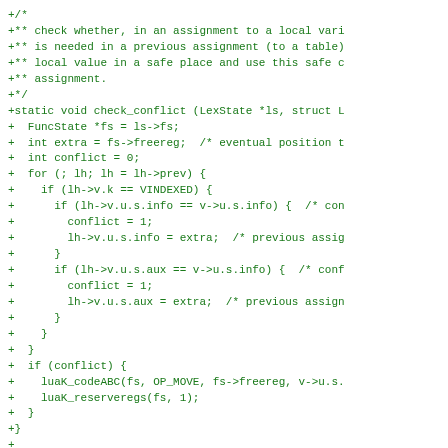[Figure (other): Source code diff showing a C function check_conflict and assignment, with green +/- diff markers. Code is in monospace green font on white background.]